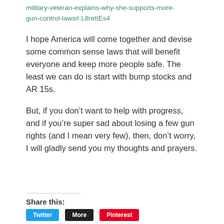military-veteran-explains-why-she-supports-more-gun-control-laws#.L8rettEs4
I hope America will come together and devise some common sense laws that will benefit everyone and keep more people safe. The least we can do is start with bump stocks and AR 15s.
But, if you don't want to help with progress, and if you're super sad about losing a few gun rights (and I mean very few), then, don't worry, I will gladly send you my thoughts and prayers.
Share this: